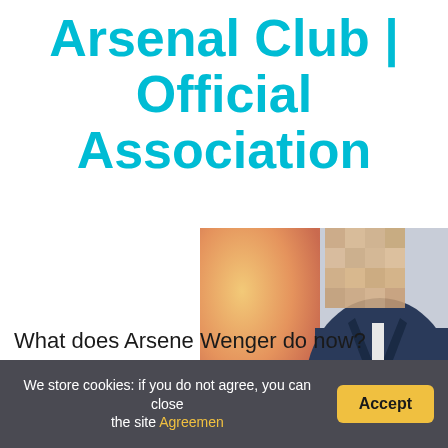Arsenal Club | Official Association
[Figure (photo): A person in a dark suit with Sky Sports branding visible in the background; face is blurred/pixelated.]
What does Arsene Wenger do now?
Arsène Charles Ernest Wenger OBE (French pronunciatio…
We store cookies: if you do not agree, you can close the site Agreemen
Accept